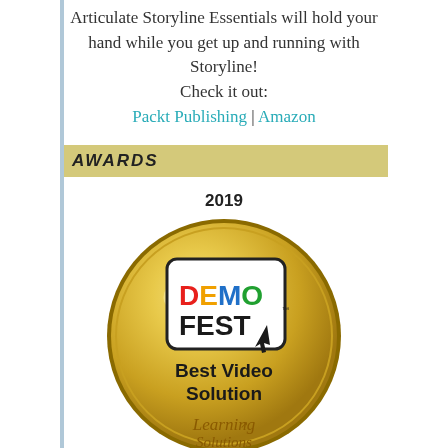Articulate Storyline Essentials will hold your hand while you get up and running with Storyline!
Check it out:
Packt Publishing | Amazon
AWARDS
2019
[Figure (illustration): Gold circular award medal for DemoFest Best Video Solution, Learning Solutions, 2019]